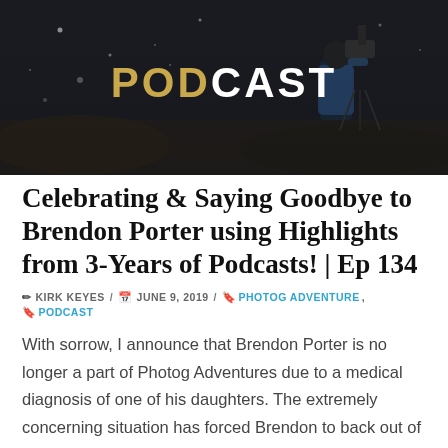[Figure (photo): Dark banner image of a person operating a camera/video equipment at night with bokeh lights, overlaid with the word PODCAST in large letters (POD in gold, CAST in white)]
Celebrating & Saying Goodbye to Brendon Porter using Highlights from 3-Years of Podcasts! | Ep 134
✏ KIRK KEYES / 📅 JUNE 9, 2019 / 🔖 PHOTOG ADVENTURE, 🔖 PODCAST
With sorrow, I announce that Brendon Porter is no longer a part of Photog Adventures due to a medical diagnosis of one of his daughters. The extremely concerning situation has forced Brendon to back out of Photog Adventures, and he may never be able to come back.